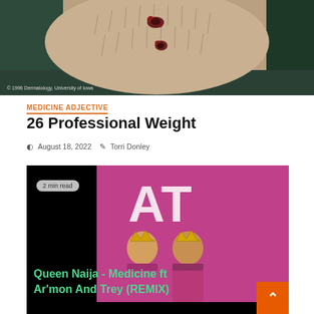[Figure (photo): Close-up photo of a hairy leg with dark skin lesions/wounds, with watermark text '© 1996 Dermatology, University of Iowa' at bottom left]
MEDICINE ADJECTIVE
26 Professional Weight
August 18, 2022   Torri Donley
[Figure (photo): Black background image with a pink promotional banner showing two men wearing gold crowns dressed in pink suits with arms crossed, with 'AT' logo in white, and green text reading 'Queen Naija - Medicine ft Ar'mon And Trey (REMIX)'. A '2 min read' badge is in the top left.]